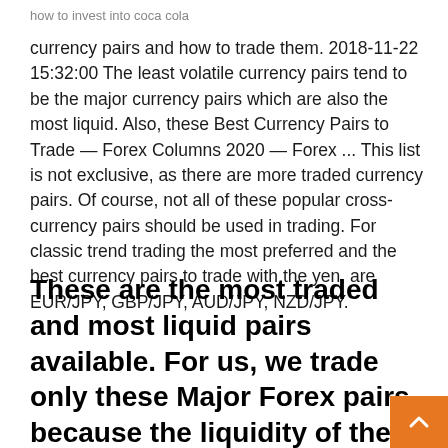how to invest into coca cola
currency pairs and how to trade them. 2018-11-22 15:32:00 The least volatile currency pairs tend to be the major currency pairs which are also the most liquid. Also, these Best Currency Pairs to Trade — Forex Columns 2020 — Forex ... This list is not exclusive, as there are more traded currency pairs. Of course, not all of these popular cross-currency pairs should be used in trading. For classic trend trading the most preferred and the best currency pairs to trade with the yen, are EUR/JPY, GBP/JPY, AUD/JPY, NZD/JPY.
These are the most traded and most liquid pairs available. For us, we trade only these Major Forex pairs because the liquidity of these pairs created very tight spread which is good for us as traders. Our